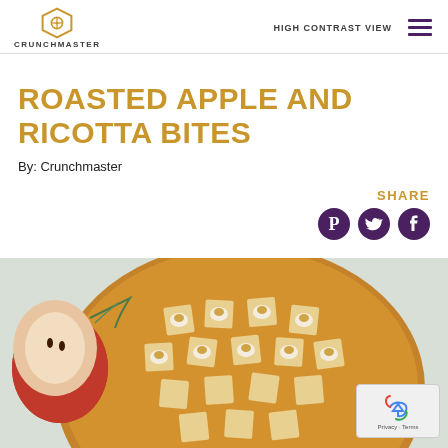CRUNCHMASTER | HIGH CONTRAST VIEW
ROASTED APPLE AND RICOTTA BITES
By: Crunchmaster
SHARE
[Figure (photo): Photo of roasted apple and ricotta bites on crackers arranged on a round wooden board, with apple slices and herb garnish on a light green cloth background]